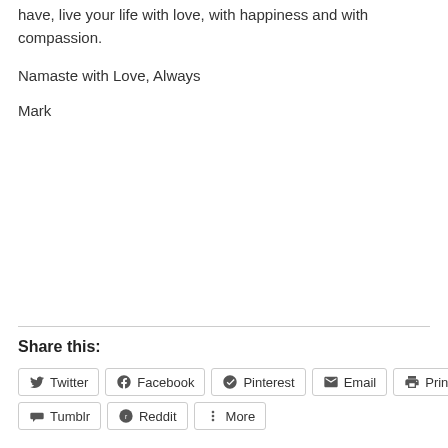have, live your life with love, with happiness and with compassion.
Namaste with Love, Always
Mark
Share this:
Twitter
Facebook
Pinterest
Email
Print
Tumblr
Reddit
More